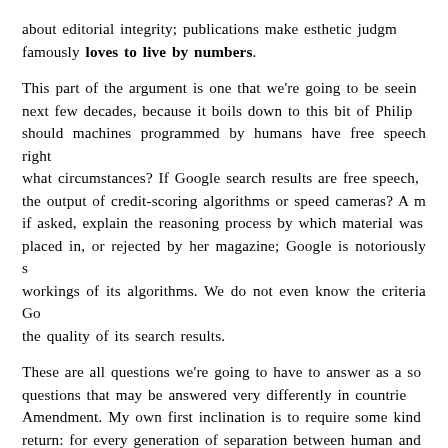about editorial integrity; publications make esthetic judgments; famously loves to live by numbers.
This part of the argument is one that we're going to be seeing next few decades, because it boils down to this bit of Philip should machines programmed by humans have free speech rights, what circumstances? If Google search results are free speech, the output of credit-scoring algorithms or speed cameras? A m if asked, explain the reasoning process by which material was placed in, or rejected by her magazine; Google is notoriously s workings of its algorithms. We do not even know the criteria G the quality of its search results.
These are all questions we're going to have to answer as a so questions that may be answered very differently in countries Amendment. My own first inclination is to require some kind return: for every generation of separation between human and be an additional layer of explanation detailing how the system is The more people the results affect, the bigger the requiremen Something like that.
The more immediate question, of course, is, whether Google's